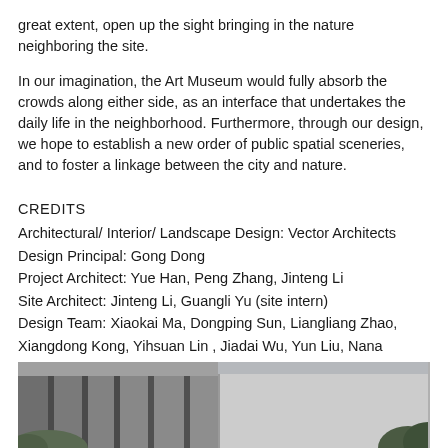great extent, open up the sight bringing in the nature neighboring the site.
In our imagination, the Art Museum would fully absorb the crowds along either side, as an interface that undertakes the daily life in the neighborhood. Furthermore, through our design, we hope to establish a new order of public spatial sceneries, and to foster a linkage between the city and nature.
CREDITS
Architectural/ Interior/ Landscape Design: Vector Architects
Design Principal: Gong Dong
Project Architect: Yue Han, Peng Zhang, Jinteng Li
Site Architect: Jinteng Li, Guangli Yu (site intern)
Design Team: Xiaokai Ma, Dongping Sun, Liangliang Zhao, Xiangdong Kong, Yihsuan Lin , Jiadai Wu, Yun Liu, Nana Zhang, Yunhan Liu
[Figure (photo): Black and white photograph of a modernist concrete building exterior with vertical wall panels and tropical foliage visible at lower edges]